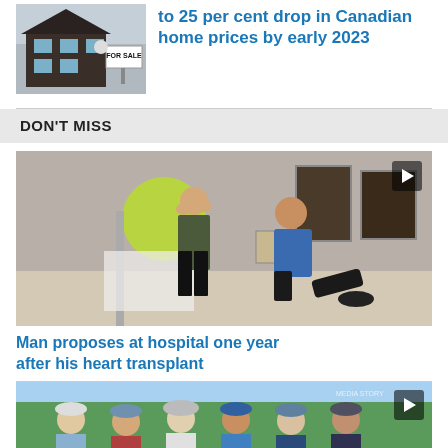[Figure (photo): House with FOR SALE sign in front]
to 25 per cent drop in Canadian home prices by early 2023
[Figure (photo): DON'T MISS section header banner]
DON'T MISS
[Figure (photo): Video thumbnail: man proposing on one knee in hospital lobby with woman reacting]
Man proposes at hospital one year after his heart transplant
[Figure (photo): Group of people wearing caps posing outdoors on golf course]